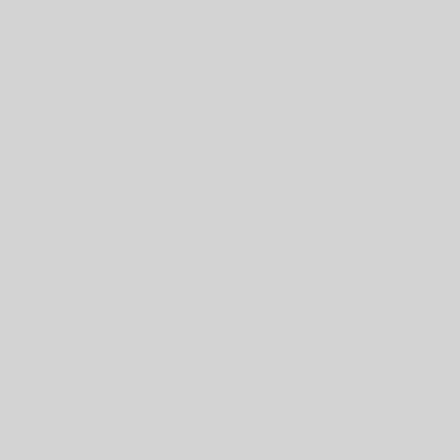| Type | Package | Status |
| --- | --- | --- |
| Binary: | fat-modules-5.19.0-trunk-mips64r6eb-di | unl |
| Binary: | fat-modules-5.19.0-trunk-mips64r6el-di | unl |
| Binary: | fat-modules-5.19.0-trunk-octeon-di | unl |
| Binary: | fat-modules-5.19.0-trunk-parisc-di | unl |
| Binary: | fat-modules-5.19.0-trunk-parisc64-di | unl |
| Binary: | fat-modules-5.19.0-trunk-powerpc-di | unl |
| Binary: | fat-modules-5.19.0-trunk-powerpc64-di | unl |